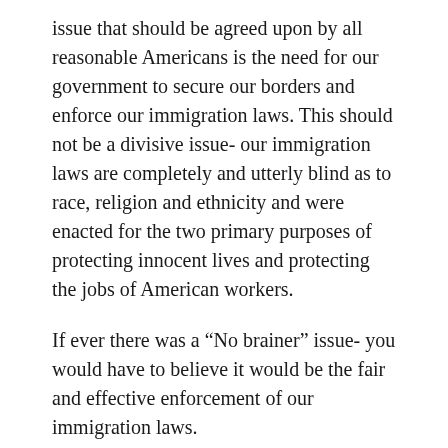issue that should be agreed upon by all reasonable Americans is the need for our government to secure our borders and enforce our immigration laws. This should not be a divisive issue- our immigration laws are completely and utterly blind as to race, religion and ethnicity and were enacted for the two primary purposes of protecting innocent lives and protecting the jobs of American workers.
If ever there was a “No brainer” issue- you would have to believe it would be the fair and effective enforcement of our immigration laws.
Here are links to some of my other commentaries that I hope you will find helpful: